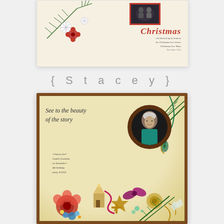[Figure (illustration): Vintage Christmas scrapbook page with pine branches, snowflakes, red decorations, a photo frame with people, 'Christmas' script title, and small handwritten journal text. Cream/ivory background.]
{ S t a c e y }
[Figure (illustration): Vintage scrapbook page with warm golden/cream background, brown glitter border. Central circular portrait frame showing elderly woman. Decorative elements: pine branches, peacock feather, gold scrolls, large rose, blue flower cluster, ribbons, ornaments. Handwritten script text reads 'See to the beauty of the story'. Caption text: 'Chosen Girl Cookie Grandma at Alexander 4th birthday party, 8-2010'.]